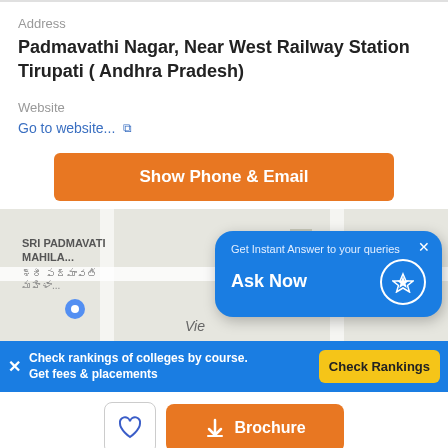Address
Padmavathi Nagar, Near West Railway Station Tirupati ( Andhra Pradesh)
Website
Go to website...
Show Phone & Email
[Figure (screenshot): Google map showing location of Sri Padmavati Mahila college with a blue popup overlay saying 'Get Instant Answer to your queries' and 'Ask Now' button]
Check rankings of colleges by course. Get fees & placements
Check Rankings
Brochure